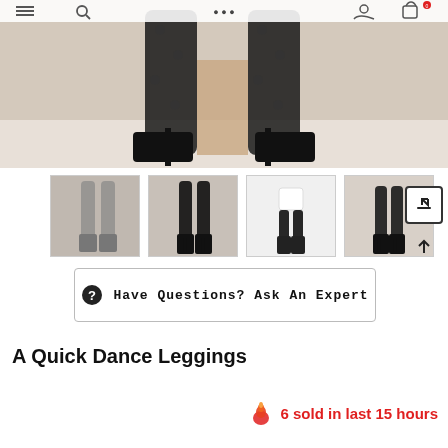[Figure (photo): Close-up photo of model's legs wearing sheer black star-print leggings with black studded high heel sandals against beige background]
[Figure (photo): Thumbnail 1: model wearing sheer gray leggings with heels]
[Figure (photo): Thumbnail 2: model wearing black mesh leggings with heels]
[Figure (photo): Thumbnail 3: model in white top and black mesh leggings with heels]
[Figure (photo): Thumbnail 4: back view of model wearing black mesh leggings with heels]
Have Questions? Ask An Expert
A Quick Dance Leggings
6 sold in last 15 hours